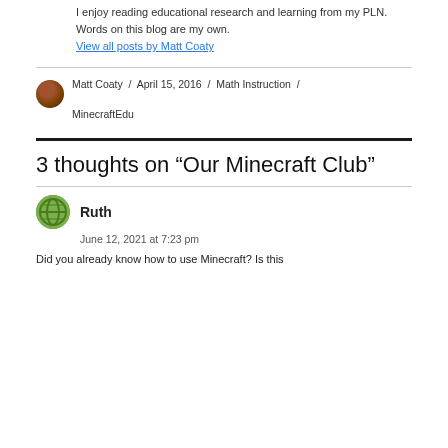I've taught elementary students for the past 14 years. I enjoy reading educational research and learning from my PLN. Words on this blog are my own.
View all posts by Matt Coaty
Matt Coaty / April 15, 2016 / Math Instruction / MinecraftEdu
3 thoughts on “Our Minecraft Club”
Ruth
June 12, 2021 at 7:23 pm
Did you already know how to use Minecraft? Is this